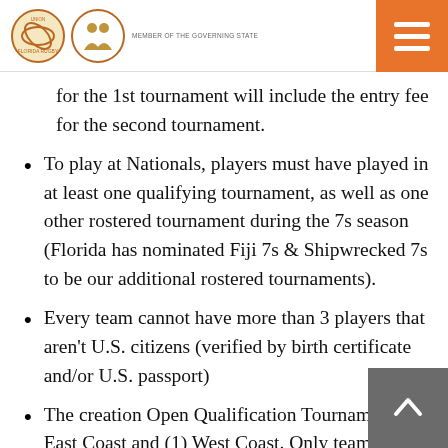Florida Rugby — Header with logos and navigation menu
for the 1st tournament will include the entry fee for the second tournament.
To play at Nationals, players must have played in at least one qualifying tournament, as well as one other rostered tournament during the 7s season (Florida has nominated Fiji 7s & Shipwrecked 7s to be our additional rostered tournaments).
Every team cannot have more than 3 players that aren't U.S. citizens (verified by birth certificate and/or U.S. passport)
The creation Open Qualification Tournaments (1) East Coast and (1) West Coast. Only teams that have played in 7s qualifying tournaments...